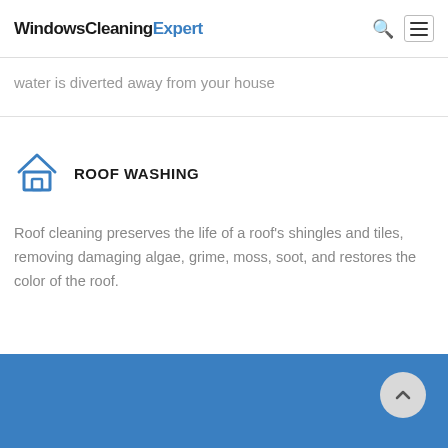WindowsCleaningExpert
water is diverted away from your house
ROOF WASHING
Roof cleaning preserves the life of a roof's shingles and tiles, removing damaging algae, grime, moss, soot, and restores the color of the roof.